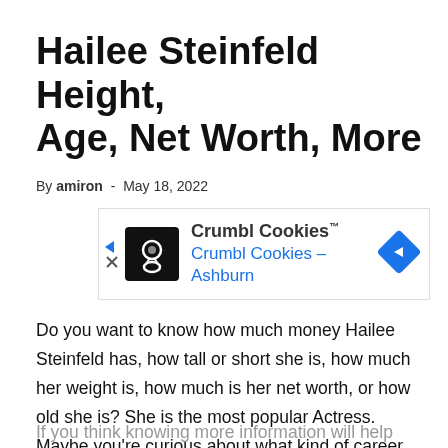Hailee Steinfeld Height, Age, Net Worth, More
By amiron - May 18, 2022
[Figure (other): Advertisement banner for Crumbl Cookies - Ashburn with logo icon and navigation arrow]
Do you want to know how much money Hailee Steinfeld has, how tall or short she is, how much her weight is, how much is her net worth, or how old she is? She is the most popular Actress. Maybe you're curious about what kind of career she has or what her personal life is like.
If you think knowing more information will help discover that...